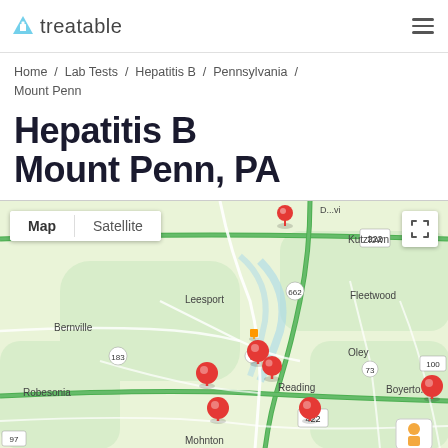treatable
Home / Lab Tests / Hepatitis B / Pennsylvania / Mount Penn
Hepatitis B Mount Penn, PA
[Figure (map): Google Maps view showing the area around Reading, PA / Mount Penn with multiple red location pins marking Hepatitis B testing lab locations. Map includes labels for Kutztown, Fleetwood, Leesport, Bernville, Oley, Robesonia, Reading, Mohnton, Boyertown, and route numbers 222, 662, 183, 6, 422, 73, 97, 100. Map controls show Map and Satellite toggle buttons.]